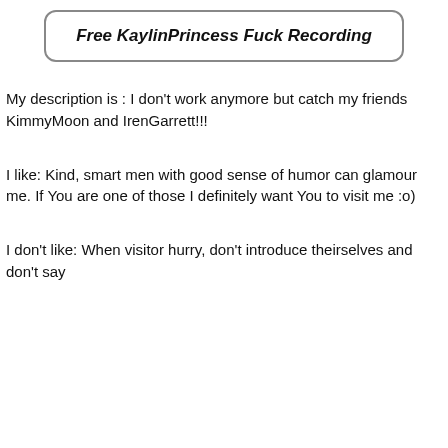Free KaylinPrincess Fuck Recording
My description is : I don't work anymore but catch my friends KimmyMoon and IrenGarrett!!!
I like: Kind, smart men with good sense of humor can glamour me. If You are one of those I definitely want You to visit me :o)
I don't like: When visitor hurry, don't introduce theirselves and don't say